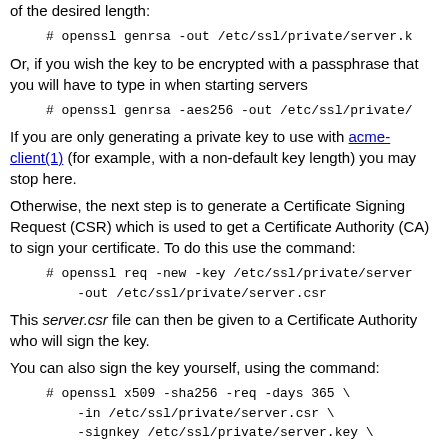of the desired length:
# openssl genrsa -out /etc/ssl/private/server.k
Or, if you wish the key to be encrypted with a passphrase that you will have to type in when starting servers
# openssl genrsa -aes256 -out /etc/ssl/private/
If you are only generating a private key to use with acme-client(1) (for example, with a non-default key length) you may stop here.
Otherwise, the next step is to generate a Certificate Signing Request (CSR) which is used to get a Certificate Authority (CA) to sign your certificate. To do this use the command:
# openssl req -new -key /etc/ssl/private/server
    -out /etc/ssl/private/server.csr
This server.csr file can then be given to a Certificate Authority who will sign the key.
You can also sign the key yourself, using the command:
# openssl x509 -sha256 -req -days 365 \
    -in /etc/ssl/private/server.csr \
    -signkey /etc/ssl/private/server.key \